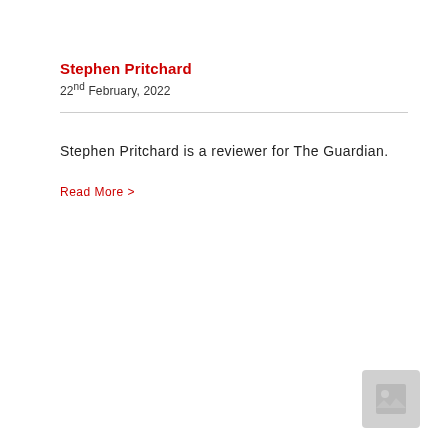Stephen Pritchard
22nd February, 2022
Stephen Pritchard is a reviewer for The Guardian.
Read More >
[Figure (illustration): Small placeholder image thumbnail in bottom-right corner]